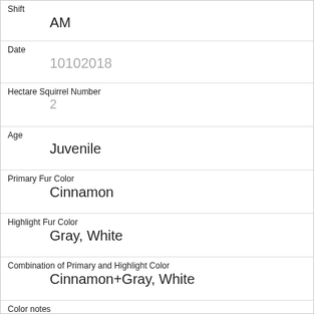| Shift | AM |
| Date | 10102018 |
| Hectare Squirrel Number | 2 |
| Age | Juvenile |
| Primary Fur Color | Cinnamon |
| Highlight Fur Color | Gray, White |
| Combination of Primary and Highlight Color | Cinnamon+Gray, White |
| Color notes |  |
| Location | Above Ground |
| Above Ground Sighter Measurement | 30 |